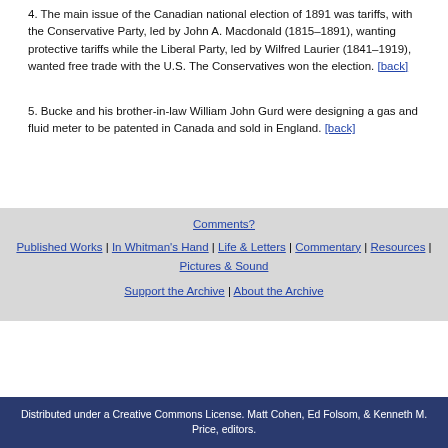4. The main issue of the Canadian national election of 1891 was tariffs, with the Conservative Party, led by John A. Macdonald (1815–1891), wanting protective tariffs while the Liberal Party, led by Wilfred Laurier (1841–1919), wanted free trade with the U.S. The Conservatives won the election. [back]
5. Bucke and his brother-in-law William John Gurd were designing a gas and fluid meter to be patented in Canada and sold in England. [back]
Comments? | Published Works | In Whitman's Hand | Life & Letters | Commentary | Resources | Pictures & Sound | Support the Archive | About the Archive | Distributed under a Creative Commons License. Matt Cohen, Ed Folsom, & Kenneth M. Price, editors.